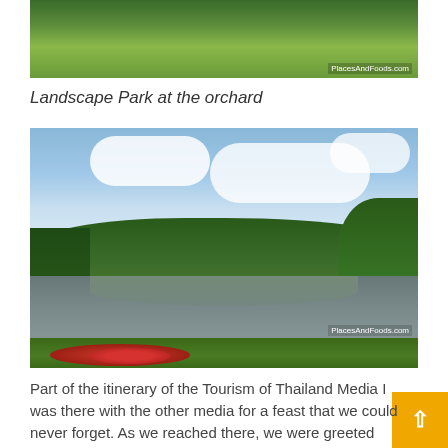[Figure (photo): Aerial/close-up view of a hedge or topiary garden with dense green foliage, with PlacesAndFoods.com watermark]
Landscape Park at the orchard
[Figure (photo): Landscape park with a lake/pond surrounded by trees and flowering plants in the foreground, cloudy blue sky, with PlacesAndFoods.com watermark]
Part of the itinerary of the Tourism of Thailand Media I was there with the other media for a feast that we could never forget. As we reached there, we were greeted with a welcome drink.